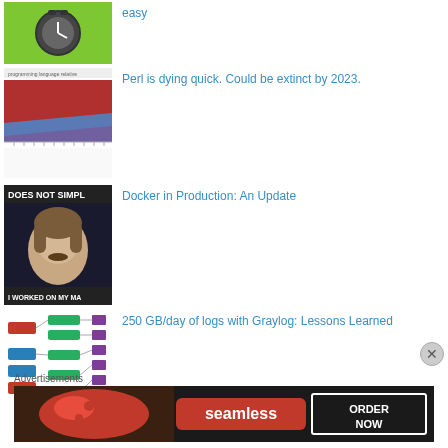[Figure (illustration): Green background with a clock/robot icon thumbnail]
easy
[Figure (area-chart): Programming language popularity area chart with red, blue, purple bands over time axis]
Perl is dying quick. Could be extinct by 2023.
[Figure (photo): Meme image: man with text 'DOES NOT SIMPLE' and 'I WORKED ON MY MA...']
Docker in Production: An Update
[Figure (infographic): Network/flow diagram with green and red boxes connected by lines to purple squares]
250 GB/day of logs with Graylog: Lessons Learned
Advertisements
[Figure (photo): Seamless food ordering advertisement banner with pizza image and ORDER NOW button]